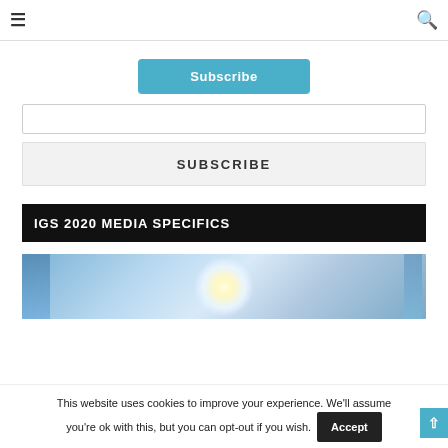≡   🔍
[Figure (other): Subscribe button (blue rounded rectangle with white text)]
[Figure (other): Empty input text box with border]
SUBSCRIBE
IGS 2020 MEDIA SPECIFICS
[Figure (photo): Blue-toned abstract image with a glowing light burst in the center, flanked by blue architectural or geometric panels]
This website uses cookies to improve your experience. We'll assume you're ok with this, but you can opt-out if you wish.
Accept